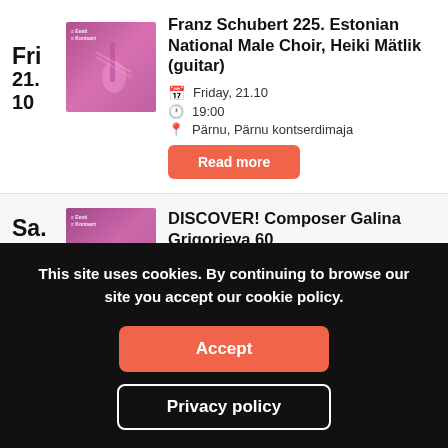Fri 21. 10
[Figure (photo): Pink/purple tinted photo of a person playing cello, with Eesti Kontsert logo overlay]
Franz Schubert 225. Estonian National Male Choir, Heiki Mätlik (guitar)
Friday, 21.10
19:00
Pärnu, Pärnu kontserdimaja
Read more
Sa.
[Figure (photo): Pink/purple tinted concert photo with Eesti Kontsert logo overlay, partially visible]
DISCOVER! Composer Galina Grigorjeva 60
Saturday, 21.11
This site uses cookies. By continuing to browse our site you accept our cookie policy.
Accept
Privacy policy